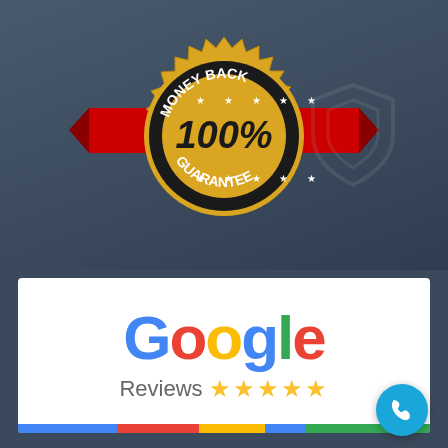[Figure (illustration): 100% Money Back Guarantee gold seal badge with zigzag border, black center with '100%' in gold text, 'MONEY BACK' on top arc and 'GUARANTEE' on bottom arc in white text, five stars, red-white-blue ribbon banner behind the seal, on dark blue-grey background with faint shield watermark]
[Figure (logo): Google Reviews logo on white background: 'Google' in multicolor large text (blue G, red o, yellow o, blue g, green l, red e), 'Reviews' in grey below with five gold stars, multicolor horizontal bar at bottom (blue, red, yellow, blue, green segments)]
[Figure (illustration): Teal/cyan circular phone call button with white telephone handset icon, positioned at bottom-right corner]